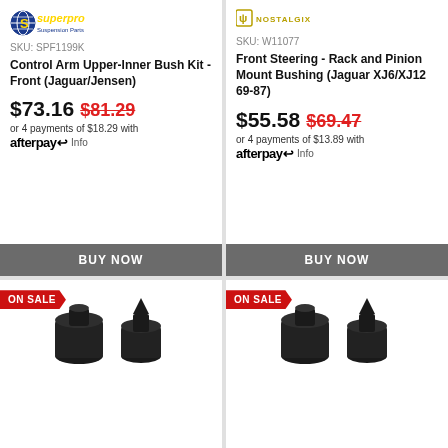[Figure (photo): SuperPro brand logo with yellow/orange text on white background]
SKU: SPF1199K
Control Arm Upper-Inner Bush Kit - Front (Jaguar/Jensen)
$73.16 $81.29
or 4 payments of $18.29 with afterpay Info
BUY NOW
[Figure (logo): Nostalgix brand logo in yellow/gold color]
SKU: W11077
Front Steering - Rack and Pinion Mount Bushing (Jaguar XJ6/XJ12 69-87)
$55.58 $69.47
or 4 payments of $13.89 with afterpay Info
BUY NOW
ON SALE
[Figure (photo): Black automotive bushing parts on white background]
ON SALE
[Figure (photo): Black automotive bushing parts on white background]